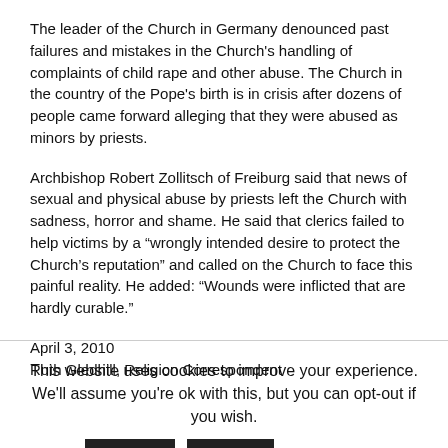The leader of the Church in Germany denounced past failures and mistakes in the Church's handling of complaints of child rape and other abuse. The Church in the country of the Pope's birth is in crisis after dozens of people came forward alleging that they were abused as minors by priests.
Archbishop Robert Zollitsch of Freiburg said that news of sexual and physical abuse by priests left the Church with sadness, horror and shame. He said that clerics failed to help victims by a “wrongly intended desire to protect the Church’s reputation” and called on the Church to face this painful reality. He added: “Wounds were inflicted that are hardly curable.”
April 3, 2010
Ruth Gledhill, Religion Correspondent
This website uses cookies to improve your experience. We'll assume you're ok with this, but you can opt-out if you wish.
Accept  Reject  Read More
https://infiniteunknown.net/dsgvo/